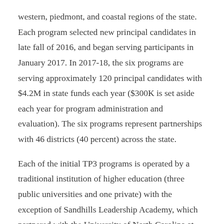western, piedmont, and coastal regions of the state. Each program selected new principal candidates in late fall of 2016, and began serving participants in January 2017. In 2017-18, the six programs are serving approximately 120 principal candidates with $4.2M in state funds each year ($300K is set aside each year for program administration and evaluation). The six programs represent partnerships with 46 districts (40 percent) across the state.
Each of the initial TP3 programs is operated by a traditional institution of higher education (three public universities and one private) with the exception of Sandhills Leadership Academy, which partnered with the University of North Carolina at Pembro...